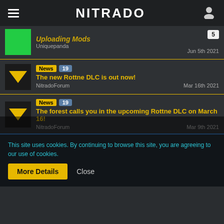NITRADO
Uploading Mods — Uniquepanda — Jun 5th 2021
News 19 — The new Rottne DLC is out now! — NitradoForum — Mar 16th 2021
News 19 — The forest calls you in the upcoming Rottne DLC on March 16! — NitradoForum — Mar 9th 2021
19 — Admin Web-Interface Not Working — lindburg — Mar 6th 2021 — 8
This site uses cookies. By continuing to browse this site, you are agreeing to our use of cookies.
More Details  Close